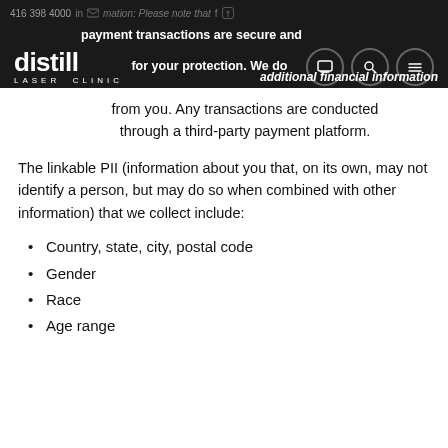416 398 4000  Information: Please note that payment transactions are secure and for your protection. We do not collect additional financial information from you. Any transactions are conducted through a third-party payment platform.
from you. Any transactions are conducted through a third-party payment platform.
The linkable PII (information about you that, on its own, may not identify a person, but may do so when combined with other information) that we collect include:
Country, state, city, postal code
Gender
Race
Age range